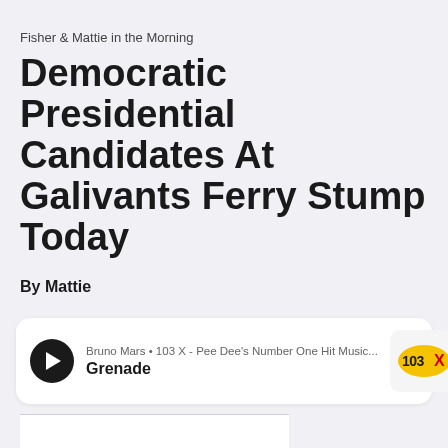Fisher & Mattie in the Morning
Democratic Presidential Candidates At Galivants Ferry Stump Today
By Mattie
[Figure (other): Audio player card showing Bruno Mars • 103 X - Pee Dee's Number One Hit Music... / Grenade, with play button and 103X station logo]
[Figure (other): Content image area, partially visible at bottom of page]